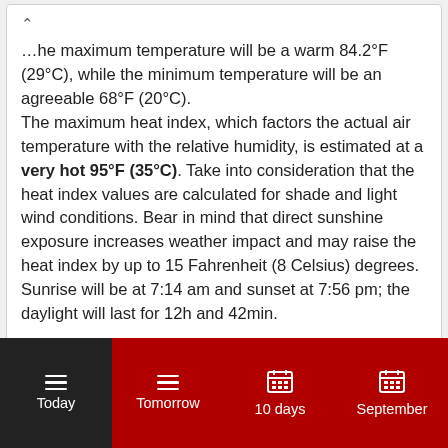…he maximum temperature will be a warm 84.2°F (29°C), while the minimum temperature will be an agreeable 68°F (20°C). The maximum heat index, which factors the actual air temperature with the relative humidity, is estimated at a very hot 95°F (35°C). Take into consideration that the heat index values are calculated for shade and light wind conditions. Bear in mind that direct sunshine exposure increases weather impact and may raise the heat index by up to 15 Fahrenheit (8 Celsius) degrees. Sunrise will be at 7:14 am and sunset at 7:56 pm; the daylight will last for 12h and 42min.
Today | Tomorrow | 10 days | September